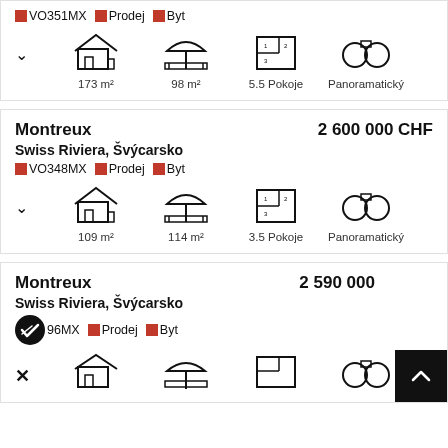Swiss Riviera, Švýcarsko
VO351MX  Prodej  Byt
[Figure (infographic): Property icons row: house/building 173 m², covered area 98 m², floor plan 5.5 Pokoje, binoculars Panoramatický]
Montreux
2 600 000 CHF
Swiss Riviera, Švýcarsko
VO348MX  Prodej  Byt
[Figure (infographic): Property icons row: house/building 109 m², covered area 114 m², floor plan 3.5 Pokoje, binoculars Panoramatický]
Montreux
2 590 000
Swiss Riviera, Švýcarsko
V096MX  Prodej  Byt
[Figure (infographic): Partial icons row at bottom: building icon, umbrella/terrace icon, floor plan icon, binoculars icon]